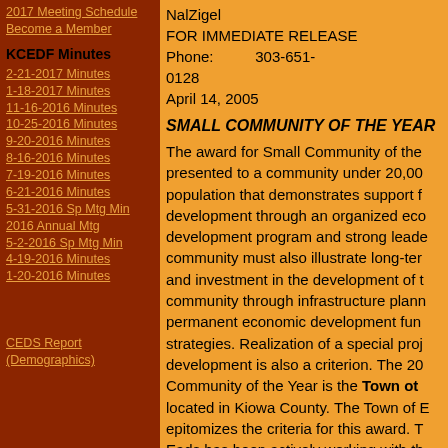2017 Meeting Schedule
Become a Member
KCEDF Minutes
2-21-2017 Minutes
1-18-2017 Minutes
11-16-2016 Minutes
10-25-2016 Minutes
9-20-2016 Minutes
8-16-2016 Minutes
7-19-2016 Minutes
6-21-2016 Minutes
5-31-2016 Sp Mtg Min
2016 Annual Mtg
5-2-2016 Sp Mtg Min
4-19-2016 Minutes
1-20-2016 Minutes
CEDS Report (Demographics)
NalZigel
FOR IMMEDIATE RELEASE
Phone:          303-651-0128
April 14, 2005
SMALL COMMUNITY OF THE YEAR
The award for Small Community of the Year is presented to a community under 20,000 population that demonstrates support for development through an organized economic development program and strong leadership. A community must also illustrate long-term planning and investment in the development of the community through infrastructure planning, permanent economic development funds and strategies. Realization of a special project in development is also a criterion. The 2005 Small Community of the Year is the Town of Eads, located in Kiowa County. The Town of Eads epitomizes the criteria for this award. The Town of Eads has been actively working with the Arkansas Valley Marketing Coalition (a five county organization) to establish itself as a community in search of expansion for its citizens...